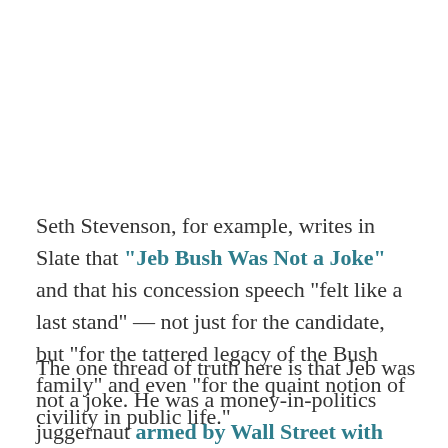Seth Stevenson, for example, writes in Slate that "Jeb Bush Was Not a Joke" and that his concession speech "felt like a last stand" — not just for the candidate, but "for the tattered legacy of the Bush family" and even "for the quaint notion of civility in public life."
The one thread of truth here is that Jeb was not a joke. He was a money-in-politics juggernaut armed by Wall Street with ungodly sums and given the